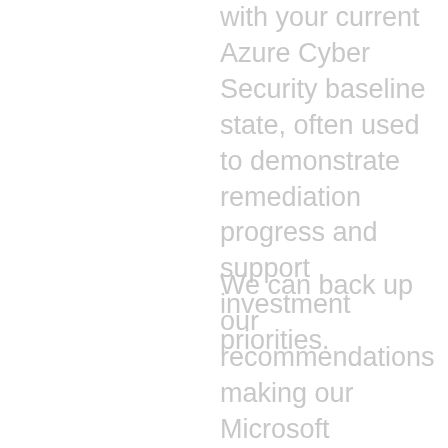with your current Azure Cyber Security baseline state, often used to demonstrate remediation progress and support investment priorities.
We can back up our recommendations making our Microsoft Security Certified experts available to support your